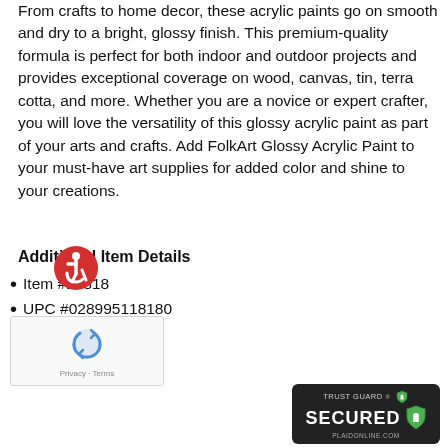From crafts to home decor, these acrylic paints go on smooth and dry to a bright, glossy finish. This premium-quality formula is perfect for both indoor and outdoor projects and provides exceptional coverage on wood, canvas, tin, terra cotta, and more. Whether you are a novice or expert crafter, you will love the versatility of this glossy acrylic paint as part of your arts and crafts. Add FolkArt Glossy Acrylic Paint to your must-have art supplies for added color and shine to your creations.
Additional Item Details
Item #11818
UPC #028995118180
Condition: New
Size: 2 oz.
[Figure (logo): Trust Guard Secured badge for plaidonline.com]
[Figure (logo): Accessibility icon (wheelchair symbol in red circle)]
[Figure (logo): Google reCAPTCHA widget with Privacy and Terms links]